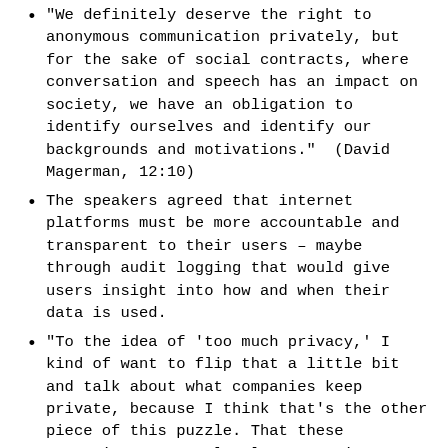"We definitely deserve the right to anonymous communication privately, but for the sake of social contracts, where conversation and speech has an impact on society, we have an obligation to identify ourselves and identify our backgrounds and motivations." (David Magerman, 12:10)
The speakers agreed that internet platforms must be more accountable and transparent to their users – maybe through audit logging that would give users insight into how and when their data is used.
“To the idea of ‘too much privacy,’ I kind of want to flip that a little bit and talk about what companies keep private, because I think that’s the other piece of this puzzle. That these companies are completely opaque in so many of their practices – whether we’re talking about encryption, which David was just talking